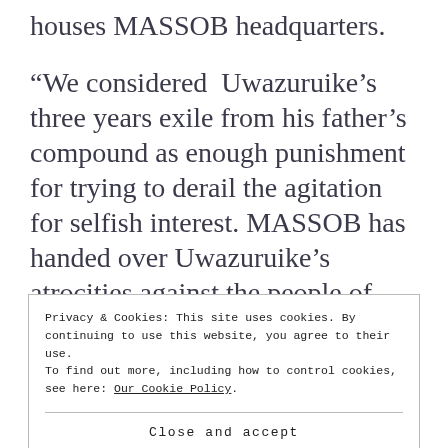houses MASSOB headquarters.
“We considered Uwazuruike’s three years exile from his father’s compound as enough punishment for trying to derail the agitation for selfish interest. MASSOB has handed over Uwazuruike’s atrocities against the people of Biafrans into the hands of Chukwu Okike Abiama
Privacy & Cookies: This site uses cookies. By continuing to use this website, you agree to their use.
To find out more, including how to control cookies, see here: Our Cookie Policy
Close and accept
violently from our new office, no